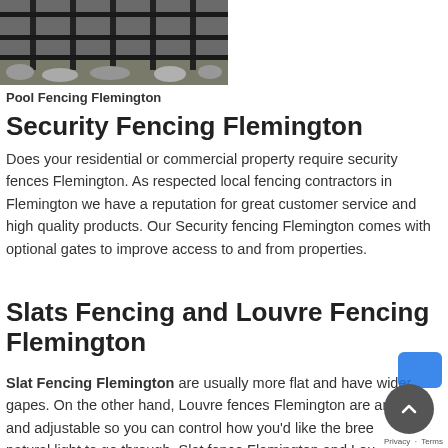[Figure (photo): Photo of a black metal fence/pool fencing in Flemington, partially cropped at top]
Pool Fencing Flemington
Security Fencing Flemington
Does your residential or commercial property require security fences Flemington. As respected local fencing contractors in Flemington we have a reputation for great customer service and high quality products. Our Security fencing Flemington comes with optional gates to improve access to and from properties.
Slats Fencing and Louvre Fencing Flemington
Slat Fencing Flemington are usually more flat and have wider gapes. On the other hand, Louvre fences Flemington are angled and adjustable so you can control how you'd like the breeze and natural light to go through. Slat fence Flemington and Louvre Flemington are more decorative fences which are ideal to create a stunning modern appearance with the added benefit to low